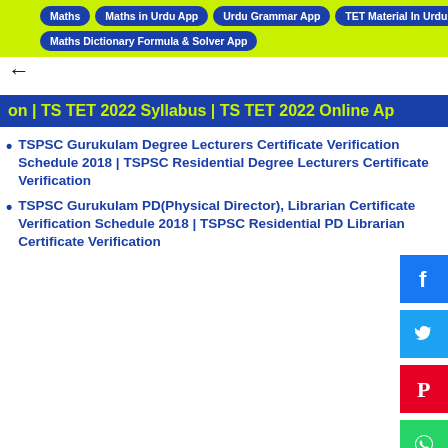Maths | Maths in Urdu App | Urdu Grammar App | TET Material In Urdu App | Maths Dictionary Formula & Solver App
on | TS TET 2022 Syllabus | TS TET 2022 Online Ap
TSPSC Gurukulam Degree Lecturers Certificate Verification Schedule 2018 | TSPSC Residential Degree Lecturers Certificate Verification
TSPSC Gurukulam PD(Physical Director), Librarian Certificate Verification Schedule 2018 | TSPSC Residential PD Librarian Certificate Verification